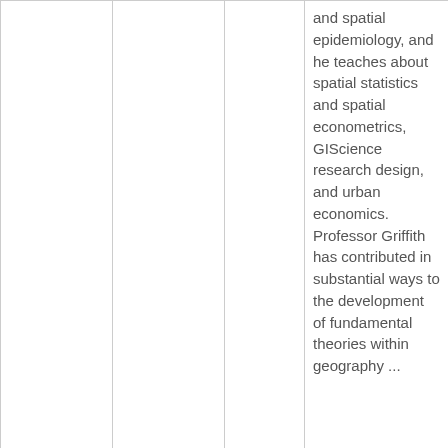| Photo | Name | Year | Description |
| --- | --- | --- | --- |
| [photo] |  |  | and spatial epidemiology, and he teaches about spatial statistics and spatial econometrics, GIScience research design, and urban economics. Professor Griffith has contributed in substantial ways to the development of fundamental theories within geography ... |
| [photo of Kate Beard] | Kate Beard | 2017 | Dr. Kate Beard is a Professor of Spatial Informatics in the School of Computing and Information Science at the University of |